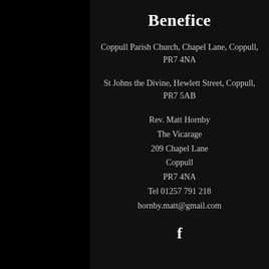Benefice
Coppull Parish Church, Chapel Lane, Coppull, PR7 4NA
St Johns the Divine, Hewlett Street, Coppull, PR7 5AB
Rev. Matt Hornby
The Vicarage
209 Chapel Lane
Coppull
PR7 4NA
Tel 01257 791 218
hornby.matt@gmail.com
[Figure (logo): Facebook 'f' logo icon in white]